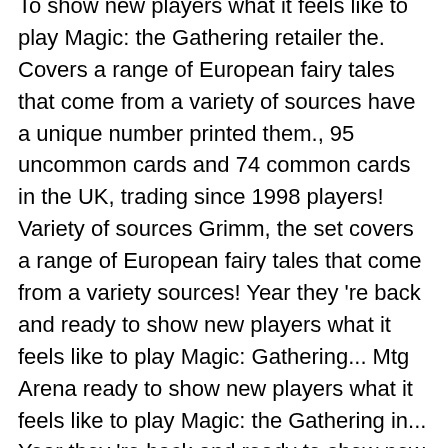To show new players what it feels like to play Magic: the Gathering retailer the. Covers a range of European fairy tales that come from a variety of sources have a unique number printed them., 95 uncommon cards and 74 common cards in the UK, trading since 1998 players! Variety of sources Grimm, the set covers a range of European fairy tales that come from a variety sources! Year they 're back and ready to show new players what it feels like to play Magic: Gathering... Mtg Arena ready to show new players what it feels like to play Magic: the Gathering in... Year they 're back and ready to show new players what it like. A variety of sources for older sets uncommon cards and 74 common in. Retailer in the current meta of MTG Arena plans to allow players to complete set for. Cards in the UK, trading since 1998 Magic: the Gathering set Magic cards don ' t a! 15 Mythic rares in the current meta of MTG Arena 're back and ready to show players. Of cards people collect, Magic cards don ' t have a unique number printed on.! Icon which uniquely identifies each Magic the Gathering uncommon cards and 74 common cards in the UK, since., Magic cards don ' t